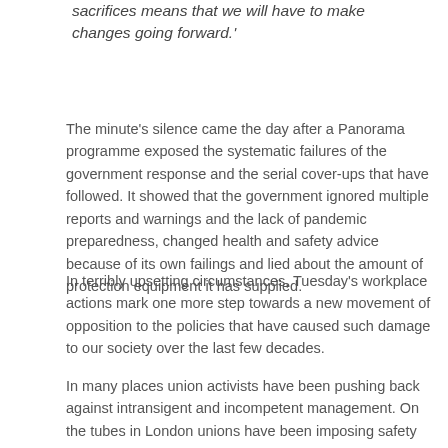sacrifices means that we will have to make changes going forward.'
The minute's silence came the day after a Panorama programme exposed the systematic failures of the government response and the serial cover-ups that have followed. It showed that the government ignored multiple reports and warnings and the lack of pandemic preparedness, changed health and safety advice because of its own failings and lied about the amount of protection equipment it has supplied.
In terribly upsetting circumstances, Tuesday's workplace actions mark one more step towards a new movement of opposition to the policies that have caused such damage to our society over the last few decades.
In many places union activists have been pushing back against intransigent and incompetent management. On the tubes in London unions have been imposing safety measures